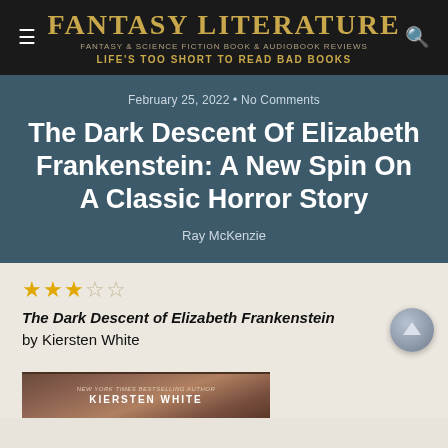Fantasy Literature — Fantasy & Science Fiction Book & Audiobook Reviews — Life's too short to Read Bad Books
February 25, 2022 • No Comments
The Dark Descent Of Elizabeth Frankenstein: A New Spin On A Classic Horror Story
Ray McKenzie
[Figure (other): Star rating showing 2.5 out of 5 stars in gold/gray]
The Dark Descent of Elizabeth Frankenstein by Kiersten White
[Figure (photo): Partial book cover showing 'New York Times Bestselling Author' text at top, with dark atmospheric cover art]